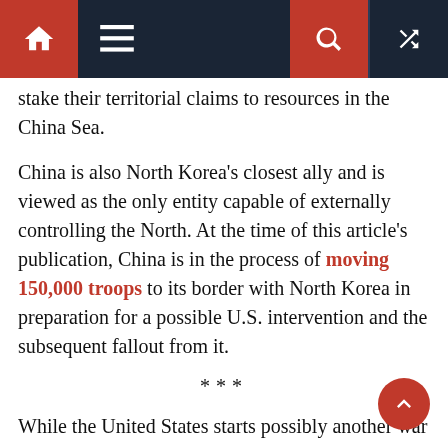Navigation bar with home, menu, search, and random icons
stake their territorial claims to resources in the China Sea.
China is also North Korea's closest ally and is viewed as the only entity capable of externally controlling the North. At the time of this article's publication, China is in the process of moving 150,000 troops to its border with North Korea in preparation for a possible U.S. intervention and the subsequent fallout from it.
***
While the United States starts possibly another war against a sovereign country under Trump's leadership, it's important to pay attention to other, equally concerning events unfolding in the U.S. and around the world. While the media and politicians heap praise on Trump for bombing a new country and anti-war marchers take to the streets, we must inform